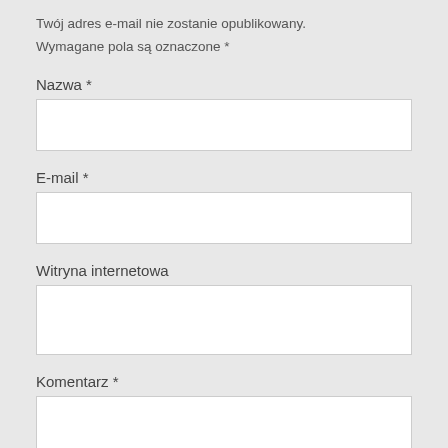Twój adres e-mail nie zostanie opublikowany.
Wymagane pola są oznaczone *
Nazwa *
E-mail *
Witryna internetowa
Komentarz *